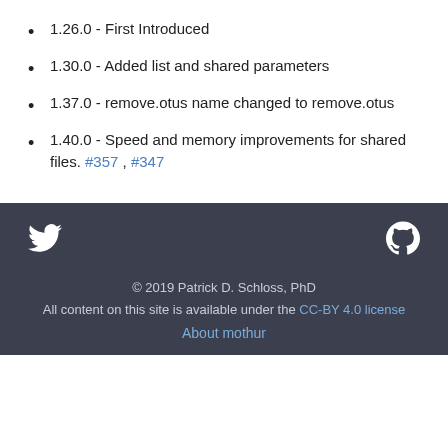1.26.0 - First Introduced
1.30.0 - Added list and shared parameters
1.37.0 - remove.otus name changed to remove.otus
1.40.0 - Speed and memory improvements for shared files. #357 , #347
© 2019 Patrick D. Schloss, PhD
All content on this site is available under the CC-BY 4.0 license
About mothur